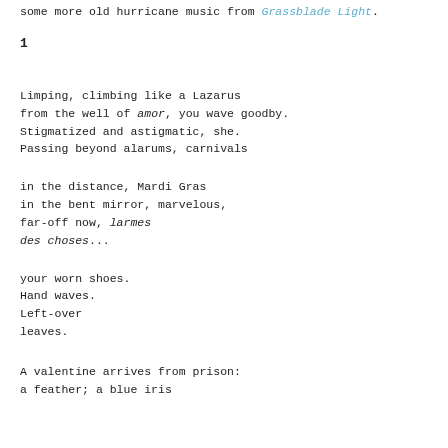some more old hurricane music from Grassblade Light.
1
Limping, climbing like a Lazarus
from the well of amor, you wave goodby.
Stigmatized and astigmatic, she.
Passing beyond alarums, carnivals
in the distance, Mardi Gras
in the bent mirror, marvelous,
far-off now, larmes
des choses...
your worn shoes.
Hand waves.
Left-over
leaves.
A valentine arrives from prison:
a feather; a blue iris